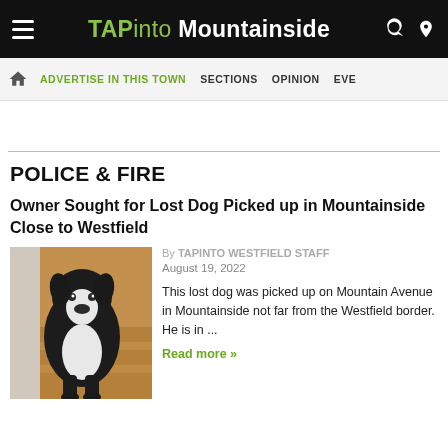TAPinto Mountainside
POLICE & FIRE
Owner Sought for Lost Dog Picked up in Mountainside Close to Westfield
[Figure (photo): A black and white Boston Terrier dog on wooden stairs]
By TAPINTO WESTFIELD STAFF
August 19, 2022

This lost dog was picked up on Mountain Avenue in Mountainside not far from the Westfield border. He is in ...

Read more »